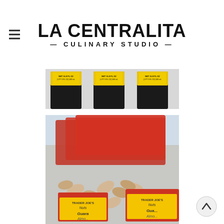[Figure (logo): La Centralita Culinary Studio logo with hamburger menu icon on the left]
[Figure (photo): Photo of dark glass bottles with yellow caps/labels on store shelf, showing NET 16.9 FL OZ markings]
[Figure (photo): Photo of Trader Joe's Nuts Guara Almonds in red packaging bags displayed in store, with visible package labels]